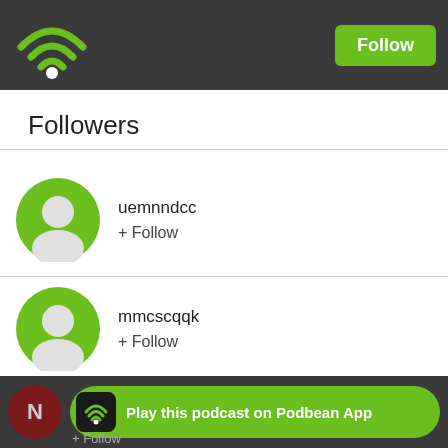[Figure (logo): Podbean wifi-style logo in green on dark grey header bar]
Follow
Followers
uemnndcc
+ Follow
mmcscqqk
+ Follow
bfnhmkqm
+ Follow
Play this podcast on Podbean App